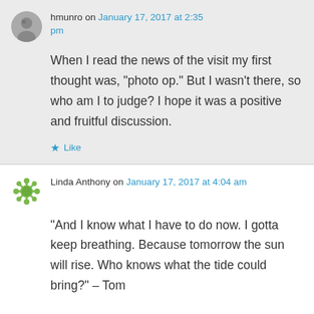hmunro on January 17, 2017 at 2:35 pm
When I read the news of the visit my first thought was, “photo op.” But I wasn’t there, so who am I to judge? I hope it was a positive and fruitful discussion.
★ Like
Linda Anthony on January 17, 2017 at 4:04 am
“And I know what I have to do now. I gotta keep breathing. Because tomorrow the sun will rise. Who knows what the tide could bring?” – Tom